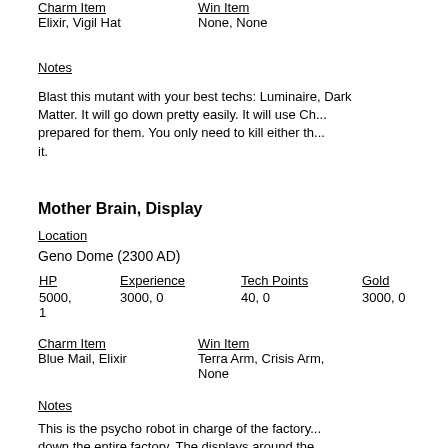Charm Item: Elixir, Vigil Hat | Win Item: None, None
Notes
Blast this mutant with your best techs: Luminaire, Dark Matter. It will go down pretty easily. It will use Chaos... prepared for them. You only need to kill either th... it.
Mother Brain, Display
Location
Geno Dome (2300 AD)
| HP | Experience | Tech Points | Gold |
| --- | --- | --- | --- |
| 5000, 1 | 3000, 0 | 40, 0 | 3000, 0 |
Charm Item: Blue Mail, Elixir | Win Item: Terra Arm, Crisis Arm, None
Notes
This is the psycho robot in charge of the factory... down the entire factory. The displays around the... destroy them, however. If you destroy all three o... her most powerful attacks on you. If you keep o... but she won't be able to use her most powerful...